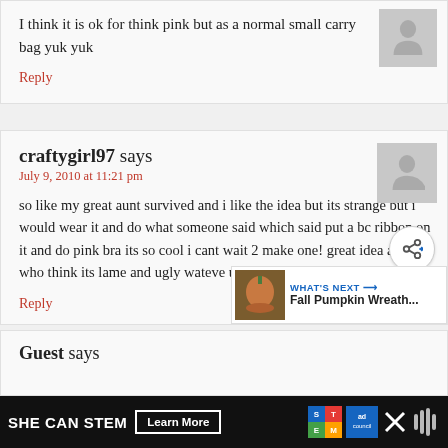I think it is ok for think pink but as a normal small carry bag yuk yuk
Reply
craftygirl97 says
July 9, 2010 at 11:21 pm
so like my great aunt survived and i like the idea but its strange but i would wear it and do what someone said which said put a bc ribbon on it and do pink bra its so cool i cant wait 2 make one! great idea and ppl who think its lame and ugly wateve u need 2 chill!
Reply
WHAT'S NEXT → Fall Pumpkin Wreath...
Guest says
SHE CAN STEM  Learn More